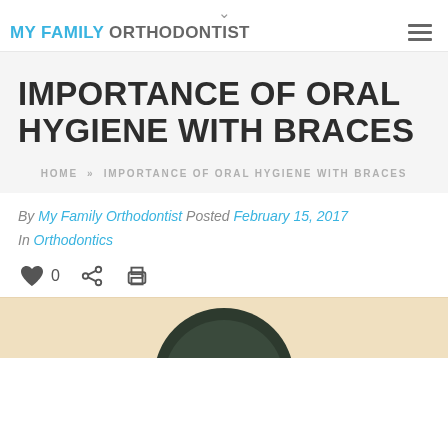MY FAMILY ORTHODONTIST
IMPORTANCE OF ORAL HYGIENE WITH BRACES
HOME » IMPORTANCE OF ORAL HYGIENE WITH BRACES
By My Family Orthodontist  Posted February 15, 2017  In Orthodontics
[Figure (photo): Person with braces photo, partial view showing top of head]